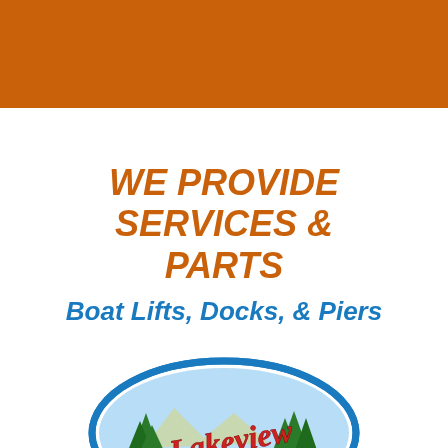[Figure (illustration): Solid burnt orange/brown colored banner at the top of the page]
WE PROVIDE SERVICES & PARTS
Boat Lifts, Docks, & Piers
[Figure (logo): Lakeview company logo: oval blue border with green pine trees, landscape scene with water, and red cursive 'Lakeview' text with decorative script]